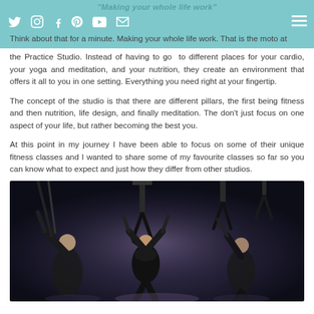"Making your whole life work"
Think about that for a minute. Making your whole life work. That is the moto at the Practice Studio. Instead of having to go to different places for your cardio, your yoga and meditation, and your nutrition, they create an environment that offers it all to you in one setting. Everything you need right at your fingertip.
The concept of the studio is that there are different pillars, the first being fitness and then nutrition, life design, and finally meditation. The don't just focus on one aspect of your life, but rather becoming the best you.
At this point in my journey I have been able to focus on some of their unique fitness classes and I wanted to share some of my favourite classes so far so you can know what to expect and just how they differ from other studios.
[Figure (photo): People performing aerial fitness/suspension training in a dark studio, wearing black clothing, hanging from straps/harnesses attached to ceiling rigs]